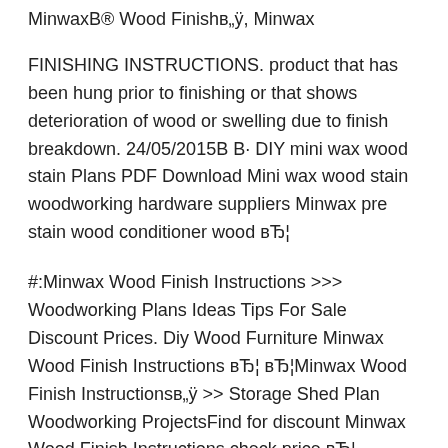MinwaxB® Wood Finishв„ÿ, Minwax
FINISHING INSTRUCTIONS. product that has been hung prior to finishing or that shows deterioration of wood or swelling due to finish breakdown. 24/05/2015В В· DIY mini wax wood stain Plans PDF Download Mini wax wood stain woodworking hardware suppliers Minwax pre stain wood conditioner wood вЂ¦
#:Minwax Wood Finish Instructions >>> Woodworking Plans Ideas Tips For Sale Discount Prices. Diy Wood Furniture Minwax Wood Finish Instructions вЂ¦ вЂ¦Minwax Wood Finish Instructionsв„ÿ >> Storage Shed Plan Woodworking ProjectsFind for discount Minwax Wood Finish Instructions check price вЂ¦
15/08/2012В В· Here are the instructions from the Minwax